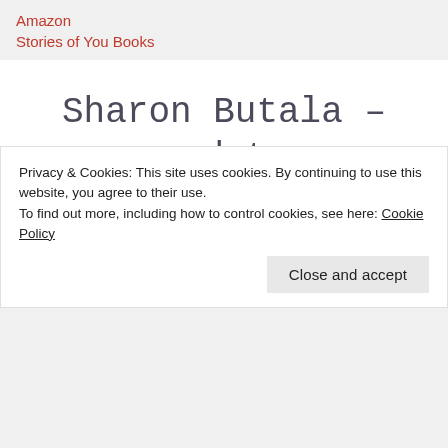Amazon
Stories of You Books
Sharon Butala – update on a new book
April 4, 2017
Privacy & Cookies: This site uses cookies. By continuing to use this website, you agree to their use.
To find out more, including how to control cookies, see here: Cookie Policy
Close and accept